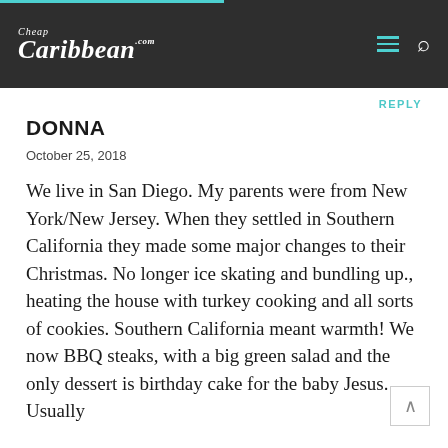Cheap Caribbean .com
REPLY
DONNA
October 25, 2018
We live in San Diego. My parents were from New York/New Jersey. When they settled in Southern California they made some major changes to their Christmas. No longer ice skating and bundling up., heating the house with turkey cooking and all sorts of cookies. Southern California meant warmth! We now BBQ steaks, with a big green salad and the only dessert is birthday cake for the baby Jesus. Usually